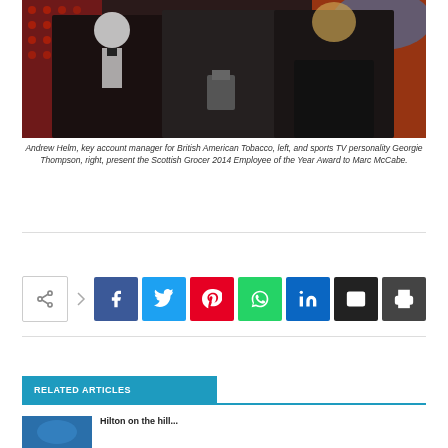[Figure (photo): Three people posing at an awards ceremony: a man in a tuxedo on the left, a person holding an award trophy in the center, and a woman in a black lace dress on the right. Red dotted backdrop visible behind them.]
Andrew Helm, key account manager for British American Tobacco, left, and sports TV personality Georgie Thompson, right, present the Scottish Grocer 2014 Employee of the Year Award to Marc McCabe.
[Figure (infographic): Social media share buttons row: share toggle button, Facebook, Twitter, Pinterest, WhatsApp, LinkedIn, Email, Print]
RELATED ARTICLES
[Figure (photo): Small thumbnail image for a related article]
Hilton on the hill...